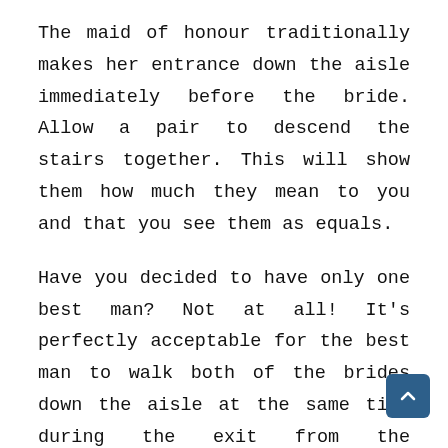The maid of honour traditionally makes her entrance down the aisle immediately before the bride. Allow a pair to descend the stairs together. This will show them how much they mean to you and that you see them as equals.
Have you decided to have only one best man? Not at all! It's perfectly acceptable for the best man to walk both of the brides down the aisle at the same time during the exit from the ceremony.
However, it's important to have someone close you as you take your vows. The maid of honour traditionally holds the bride's bouquet and stands next to the bride at the altar. One of your